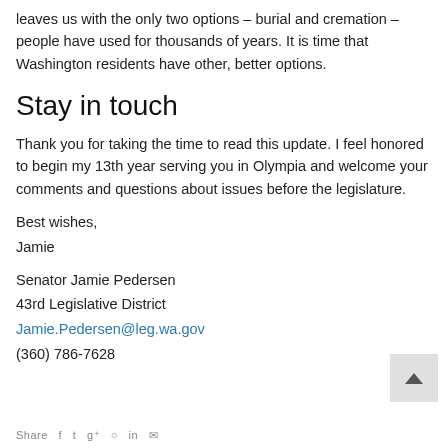leaves us with the only two options – burial and cremation – people have used for thousands of years. It is time that Washington residents have other, better options.
Stay in touch
Thank you for taking the time to read this update. I feel honored to begin my 13th year serving you in Olympia and welcome your comments and questions about issues before the legislature.
Best wishes,
Jamie
Senator Jamie Pedersen
43rd Legislative District
Jamie.Pedersen@leg.wa.gov
(360) 786-7628
Share icons